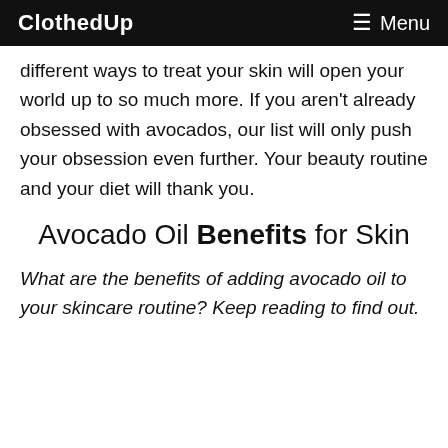ClothedUp   ≡ Menu
different ways to treat your skin will open your world up to so much more. If you aren't already obsessed with avocados, our list will only push your obsession even further. Your beauty routine and your diet will thank you.
Avocado Oil Benefits for Skin
What are the benefits of adding avocado oil to your skincare routine? Keep reading to find out.